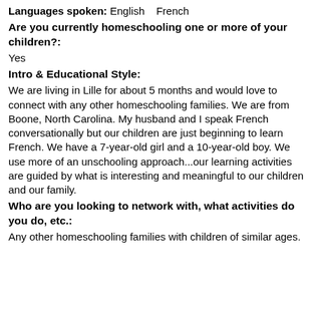Languages spoken: English   French
Are you currently homeschooling one or more of your children?:
Yes
Intro & Educational Style:
We are living in Lille for about 5 months and would love to connect with any other homeschooling families. We are from Boone, North Carolina. My husband and I speak French conversationally but our children are just beginning to learn French. We have a 7-year-old girl and a 10-year-old boy. We use more of an unschooling approach...our learning activities are guided by what is interesting and meaningful to our children and our family.
Who are you looking to network with, what activities do you do, etc.:
Any other homeschooling families with children of similar ages.